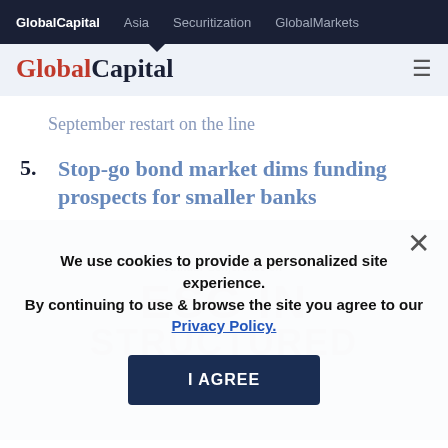GlobalCapital  Asia  Securitization  GlobalMarkets
GlobalCapital
September restart on the line
5. Stop-go bond market dims funding prospects for smaller banks
We use cookies to provide a personalized site experience. By continuing to use & browse the site you agree to our Privacy Policy.
[Figure (screenshot): Background image area showing Annual Conference on ESG in Structured Finance watermark text]
I AGREE